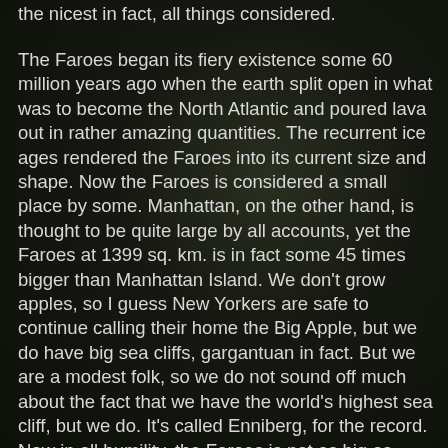the nicest in fact, all things considered.
The Faroes began its fiery existence some 60 million years ago when the earth split open in what was to become the North Atlantic and poured lava out in rather amazing quantities. The recurrent ice ages rendered the Faroes into its current size and shape. Now the Faroes is considered a small place by some. Manhattan, on the other hand, is thought to be quite large by all accounts, yet the Faroes at 1399 sq. km. is in fact some 45 times bigger than Manhattan Island. We don't grow apples, so I guess New Yorkers are safe to continue calling their home the Big Apple, but we do have big sea cliffs, gargantuan in fact. But we are a modest folk, so we do not sound off much about the fact that we have the world's highest sea cliff, but we do. It's called Enniberg, for the record. Now in all humility, the Faroes is not as big as Wales, but it is bigger than Cape Cod and essentially the same size as Hong Kong. Hong Kong has a head start on skyscrapers, however, but soon we might even have a few high-rise office buildings of our own to complement the expansive green pastureland that some communities would dearly love to have in their city centres,